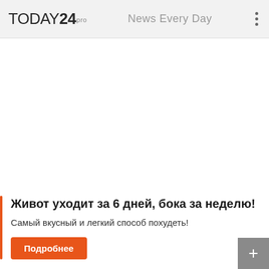TODAY24 PRO   News Every Day
Живот уходит за 6 дней, бока за неделю!
Самый вкусный и легкий способ похудеть!
Подробнее